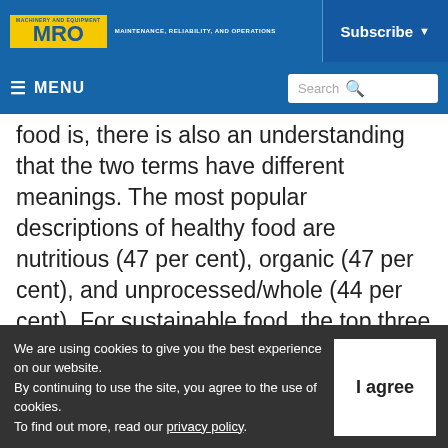MRO - MAINTENANCE, RELIABILITY, AND OPERATIONS | Subscribe
≡ MENU | Search
food is, there is also an understanding that the two terms have different meanings. The most popular descriptions of healthy food are nutritious (47 per cent), organic (47 per cent), and unprocessed/whole (44 per cent). For sustainable food, the top three descriptions are good for the environment (51 per cent),
We are using cookies to give you the best experience on our website. By continuing to use the site, you agree to the use of cookies. To find out more, read our privacy policy.